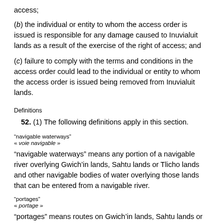access;
(b) the individual or entity to whom the access order is issued is responsible for any damage caused to Inuvialuit lands as a result of the exercise of the right of access; and
(c) failure to comply with the terms and conditions in the access order could lead to the individual or entity to whom the access order is issued being removed from Inuvialuit lands.
Definitions
52. (1) The following definitions apply in this section.
“navigable waterways”
« voie navigable »
“navigable waterways” means any portion of a navigable river overlying Gwich’in lands, Sahtu lands or Tlicho lands and other navigable bodies of water overlying those lands that can be entered from a navigable river.
“portages”
« portage »
“portages” means routes on Gwich’in lands, Sahtu lands or